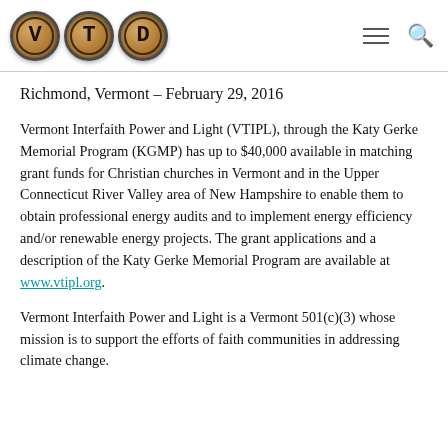VTD [logo with typewriter keys V, T, D]
Richmond, Vermont – February 29, 2016
Vermont Interfaith Power and Light (VTIPL), through the Katy Gerke Memorial Program (KGMP) has up to $40,000 available in matching grant funds for Christian churches in Vermont and in the Upper Connecticut River Valley area of New Hampshire to enable them to obtain professional energy audits and to implement energy efficiency and/or renewable energy projects. The grant applications and a description of the Katy Gerke Memorial Program are available at www.vtipl.org.
Vermont Interfaith Power and Light is a Vermont 501(c)(3) whose mission is to support the efforts of faith communities in addressing climate change.